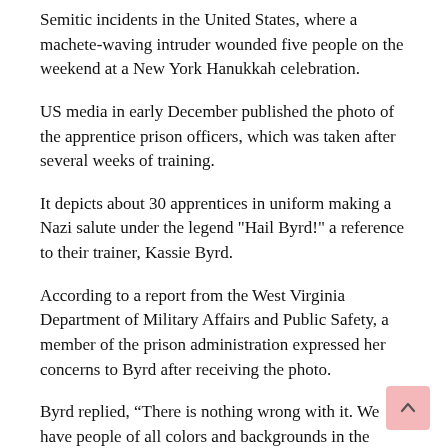Semitic incidents in the United States, where a machete-waving intruder wounded five people on the weekend at a New York Hanukkah celebration.
US media in early December published the photo of the apprentice prison officers, which was taken after several weeks of training.
It depicts about 30 apprentices in uniform making a Nazi salute under the legend "Hail Byrd!" a reference to their trainer, Kassie Byrd.
According to a report from the West Virginia Department of Military Affairs and Public Safety, a member of the prison administration expressed her concerns to Byrd after receiving the photo.
Byrd replied, “There is nothing wrong with it. We have people of all colors and backgrounds in the picture and every one of them are participating”